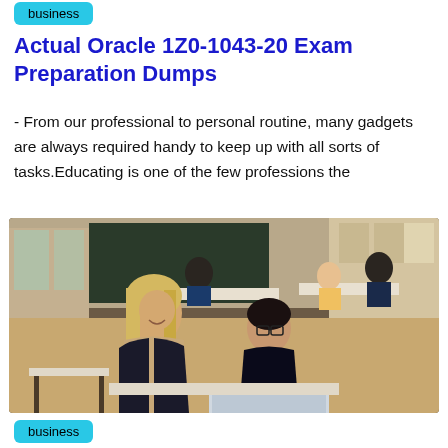business
Actual Oracle 1Z0-1043-20 Exam Preparation Dumps
- From our professional to personal routine, many gadgets are always required handy to keep up with all sorts of tasks.Educating is one of the few professions the
[Figure (photo): Classroom photo showing a blonde female teacher leaning over to help a student with glasses looking at a laptop, with other students at desks in the background in a school setting.]
business
Some Donts For Pegasystems PEGAPCBA84V1 Exam Candidates